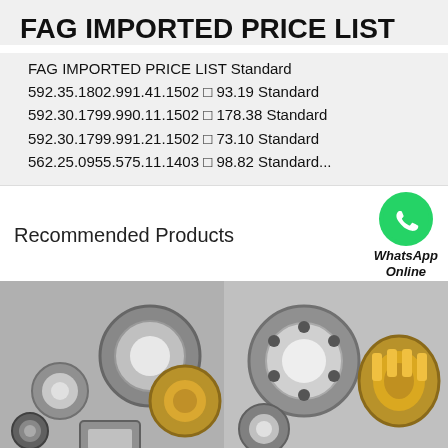FAG IMPORTED PRICE LIST
FAG IMPORTED PRICE LIST Standard 592.35.1802.991.41.1502   93.19 Standard 592.30.1799.990.11.1502   178.38 Standard 592.30.1799.991.21.1502   73.10 Standard 562.25.0955.575.11.1403   98.82 Standard...
Recommended Products
[Figure (photo): WhatsApp Online icon - green WhatsApp logo with text below]
[Figure (photo): Collection of FAG industrial bearings - various types including ball bearings and roller bearings]
[Figure (photo): Collection of FAG industrial bearings - various types including ball bearings and roller bearings, second set]
All Products
Contact Now